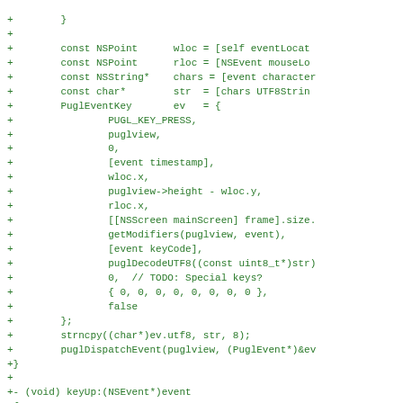[Figure (screenshot): Code diff showing additions (lines prefixed with +) in green monospace font. The code is Objective-C/C++ implementing key event handling for a PuglView, including variable declarations, a PuglEventKey struct initialization, and calls to strncpy and puglDispatchEvent.]